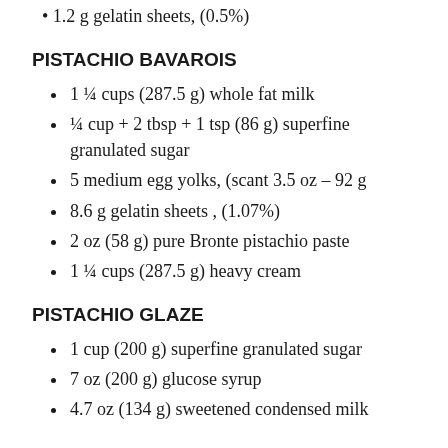1.2 g gelatin sheets, (0.5%)
PISTACHIO BAVAROIS
1 ¼ cups (287.5 g) whole fat milk
¼ cup + 2 tbsp + 1 tsp (86 g) superfine granulated sugar
5 medium egg yolks, (scant 3.5 oz – 92 g
8.6 g gelatin sheets , (1.07%)
2 oz (58 g) pure Bronte pistachio paste
1 ¼ cups (287.5 g) heavy cream
PISTACHIO GLAZE
1 cup (200 g) superfine granulated sugar
7 oz (200 g) glucose syrup
4.7 oz (134 g) sweetened condensed milk